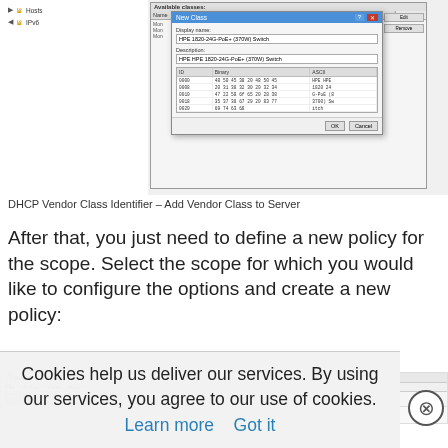[Figure (screenshot): Screenshot of Windows DHCP Manager showing a tree panel on the left with nodes (Hosts, IPv6) and a 'New Class' dialog overlaid on an 'Available Classes' window. The New Class dialog has Display name and Description fields populated with 'HPE 1820-24G-PoE+ (370W) Switch', and a table of binary/ASCII data below. OK and Cancel buttons at the bottom.]
DHCP Vendor Class Identifier – Add Vendor Class to Server
After that, you just need to define a new policy for the scope. Select the scope for which you would like to configure the options and create a new policy:
[Figure (screenshot): Partial screenshot of Windows DHCP Manager showing the title bar, menu bar (File, Action, View, Help), and toolbar with navigation buttons.]
Cookies help us deliver our services. By using our services, you agree to our use of cookies. Learn more  Got it